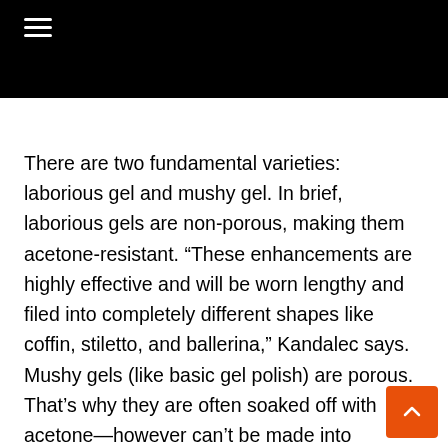≡
There are two fundamental varieties: laborious gel and mushy gel. In brief, laborious gels are non-porous, making them acetone-resistant. “These enhancements are highly effective and will be worn lengthy and filed into completely different shapes like coffin, stiletto, and ballerina,” Kandalec says. Mushy gels (like basic gel polish) are porous. That’s why they are often soaked off with acetone—however can’t be made into extensions. A semi-hard gel is a tough sufficient hybrid to be made into extensions however may also be soaked off (it simply takes longer).